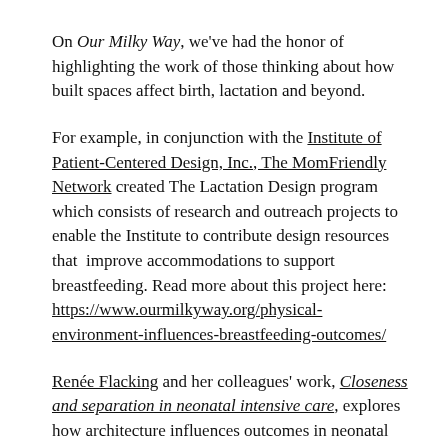On Our Milky Way, we've had the honor of highlighting the work of those thinking about how built spaces affect birth, lactation and beyond.
For example, in conjunction with the Institute of Patient-Centered Design, Inc., The MomFriendly Network created The Lactation Design program which consists of research and outreach projects to enable the Institute to contribute design resources that improve accommodations to support breastfeeding. Read more about this project here: https://www.ourmilkyway.org/physical-environment-influences-breastfeeding-outcomes/
Renée Flacking and her colleagues' work, Closeness and separation in neonatal intensive care, explores how architecture influences outcomes in neonatal units.